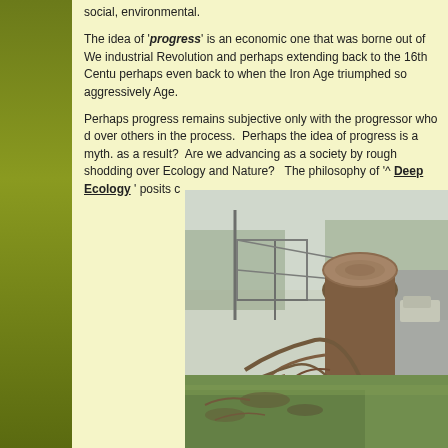social, environmental.
The idea of 'progress' is an economic one that was borne out of Western culture, the Industrial Revolution and perhaps extending back to the 16th Century and perhaps even back to when the Iron Age triumphed so aggressively over the Bronze Age.
Perhaps progress remains subjective only with the progressor who does the roughshoding over others in the process. Perhaps the idea of progress is a myth. What have we lost as a result? Are we advancing as a society by rough shodding over Ecology and Nature? The philosophy of '^ Deep Ecology ' posits c
[Figure (photo): A large felled tree stump beside a road in a misty, overcast scene. Fallen branches and debris scattered on grass. Fencing and trees in background. Appears to show land clearing or storm damage.]